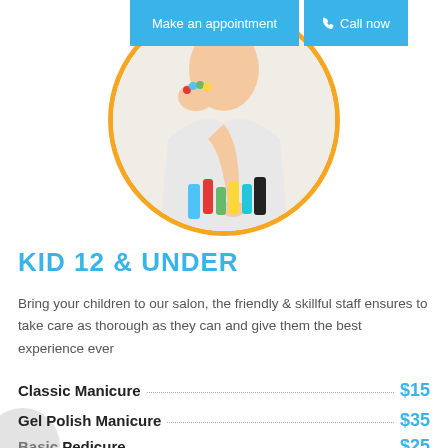[Figure (other): Two blue buttons at top: 'Make an appointment' and 'Call now' with phone icon]
[Figure (photo): Circular photo with orange border showing a child with colorful nail polish bottles]
KID 12 & UNDER
Bring your children to our salon, the friendly & skillful staff ensures to take care as thorough as they can and give them the best experience ever
Classic Manicure $15
Gel Polish Manicure $35
Basic Pedicure $25